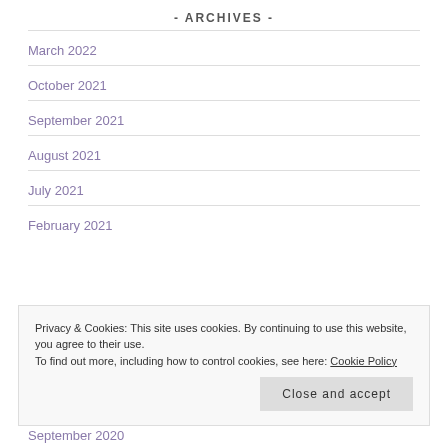- ARCHIVES -
March 2022
October 2021
September 2021
August 2021
July 2021
February 2021
Privacy & Cookies: This site uses cookies. By continuing to use this website, you agree to their use. To find out more, including how to control cookies, see here: Cookie Policy
September 2020